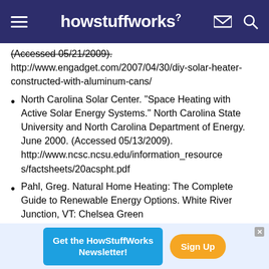howstuffworks
(Accessed 05/21/2009). http://www.engadget.com/2007/04/30/diy-solar-heater-constructed-with-aluminum-cans/
North Carolina Solar Center. "Space Heating with Active Solar Energy Systems." North Carolina State University and North Carolina Department of Energy. June 2000. (Accessed 05/13/2009). http://www.ncsc.ncsu.edu/information_resources/factsheets/20acspht.pdf
Pahl, Greg. Natural Home Heating: The Complete Guide to Renewable Energy Options. White River Junction, VT: Chelsea Green
Get the HowStuffWorks Newsletter! Sign Up